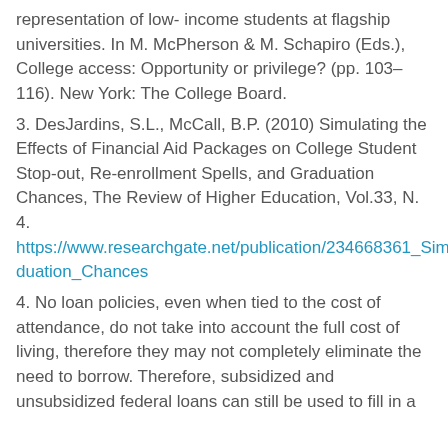representation of low- income students at flagship universities. In M. McPherson & M. Schapiro (Eds.), College access: Opportunity or privilege? (pp. 103–116). New York: The College Board.
3. DesJardins, S.L., McCall, B.P. (2010) Simulating the Effects of Financial Aid Packages on College Student Stop-out, Re-enrollment Spells, and Graduation Chances, The Review of Higher Education, Vol.33, N. 4. https://www.researchgate.net/publication/234668361_Simulating_the_Effects_of_Financial_Aid_Packages_on_College_Student_Stopout_Reenrollment_Spells_and_Graduation_Chances
4. No loan policies, even when tied to the cost of attendance, do not take into account the full cost of living, therefore they may not completely eliminate the need to borrow. Therefore, subsidized and unsubsidized federal loans can still be used to fill in a